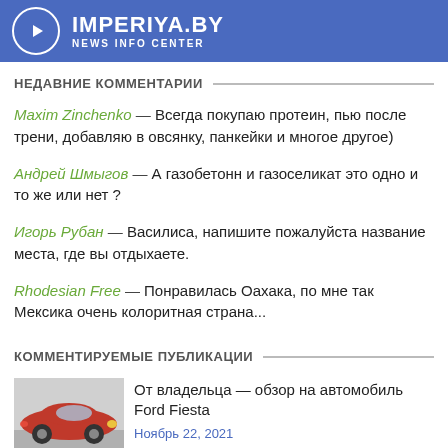IMPERIYA.BY NEWS INFO CENTER
НЕДАВНИЕ КОММЕНТАРИИ
Maxim Zinchenko — Всегда покупаю протеин, пью после трени, добавляю в овсянку, панкейки и многое другое)
Андрей Шмыгов — А газобетонн и газоселикат это одно и то же или нет ?
Игорь Рубан — Василиса, напишите пожалуйста название места, где вы отдыхаете.
Rhodesian Free — Понравилась Оахака, по мне так Мексика очень колоритная страна...
КОММЕНТИРУЕМЫЕ ПУБЛИКАЦИИ
От владельца — обзор на автомобиль Ford Fiesta
Ноябрь 22, 2021